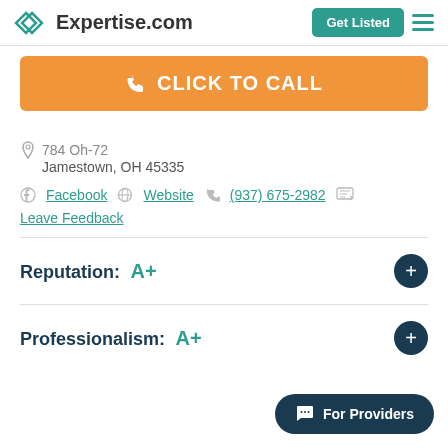Expertise.com | Get Listed
CLICK TO CALL
784 Oh-72
Jamestown, OH 45335
Facebook | Website | (937) 675-2982
Leave Feedback
Reputation: A+
Professionalism: A+
For Providers